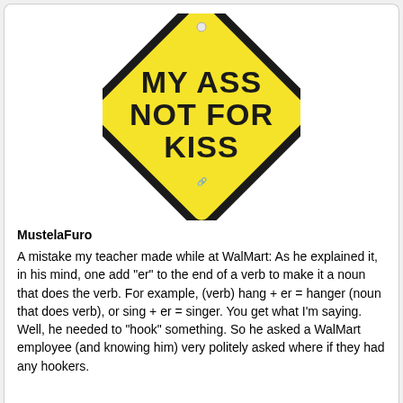[Figure (photo): Yellow diamond-shaped novelty sign with black border and bold black text reading 'MY ASS NOT FOR KISS', with a small hole at the top and a small graphic at the bottom center.]
MustelaFuro
A mistake my teacher made while at WalMart: As he explained it, in his mind, one add "er" to the end of a verb to make it a noun that does the verb. For example, (verb) hang + er = hanger (noun that does verb), or sing + er = singer. You get what I'm saying. Well, he needed to "hook" something. So he asked a WalMart employee (and knowing him) very politely asked where if they had any hookers.